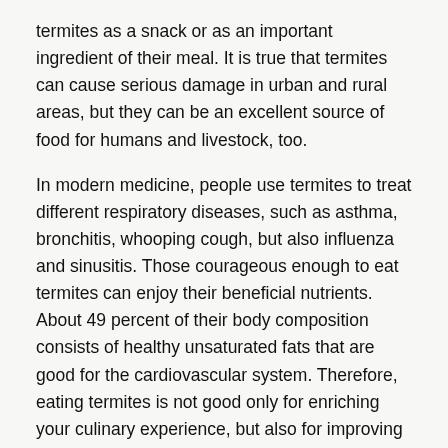termites as a snack or as an important ingredient of their meal. It is true that termites can cause serious damage in urban and rural areas, but they can be an excellent source of food for humans and livestock, too.
In modern medicine, people use termites to treat different respiratory diseases, such as asthma, bronchitis, whooping cough, but also influenza and sinusitis. Those courageous enough to eat termites can enjoy their beneficial nutrients. About 49 percent of their body composition consists of healthy unsaturated fats that are good for the cardiovascular system. Therefore, eating termites is not good only for enriching your culinary experience, but also for improving the functioning of your heart.
Mopane Caterpillars – richer in iron than beef